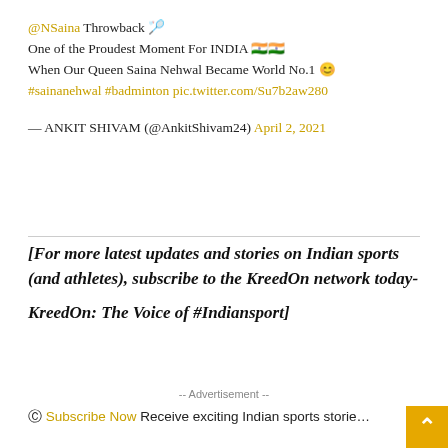@NSaina Throwback 🏸 One of the Proudest Moment For INDIA 🇮🇳🇮🇳 When Our Queen Saina Nehwal Became World No.1 😊 #sainanehwal #badminton pic.twitter.com/Su7b2aw280 — ANKIT SHIVAM (@AnkitShivam24) April 2, 2021
[For more latest updates and stories on Indian sports (and athletes), subscribe to the KreedOn network today-

KreedOn: The Voice of #Indiansport]
-- Advertisement --
Subscribe Now Receive exciting Indian sports stories